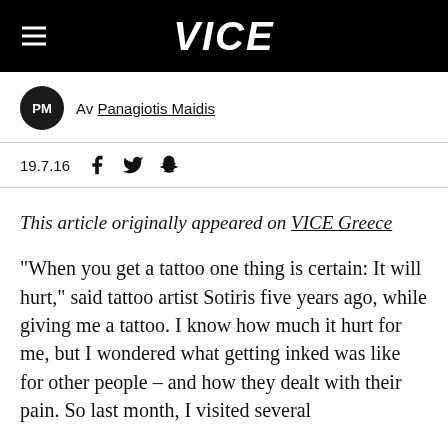VICE
Av Panagiotis Maidis
19.7.16
This article originally appeared on VICE Greece
"When you get a tattoo one thing is certain: It will hurt," said tattoo artist Sotiris five years ago, while giving me a tattoo. I know how much it hurt for me, but I wondered what getting inked was like for other people – and how they dealt with their pain. So last month, I visited several